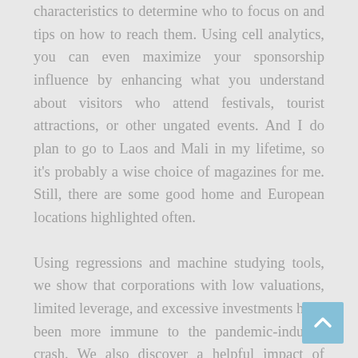characteristics to determine who to focus on and tips on how to reach them. Using cell analytics, you can even maximize your sponsorship influence by enhancing what you understand about visitors who attend festivals, tourist attractions, or other ungated events. And I do plan to go to Laos and Mali in my lifetime, so it's probably a wise choice of magazines for me. Still, there are some good home and European locations highlighted often.
Using regressions and machine studying tools, we show that corporations with low valuations, limited leverage, and excessive investments have been more immune to the pandemic-induced crash. We also discover a helpful impact of stringent containment and closure policies. Finally, our outcomes indicate that international locations with less individualism may be better